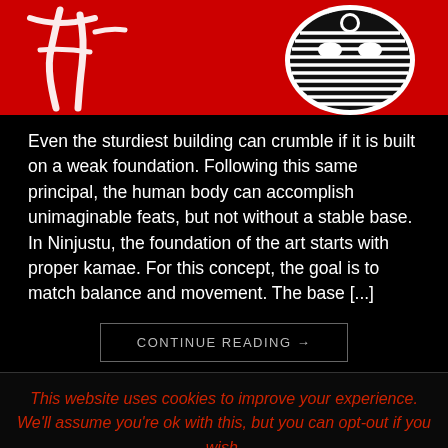[Figure (illustration): Red background with white Japanese/Chinese calligraphy characters on the left and a black and white decorative mask or face symbol on the right]
Even the sturdiest building can crumble if it is built on a weak foundation. Following this same principal, the human body can accomplish unimaginable feats, but not without a stable base. In Ninjustu, the foundation of the art starts with proper kamae. For this concept, the goal is to match balance and movement. The base [...]
CONTINUE READING →
This website uses cookies to improve your experience. We'll assume you're ok with this, but you can opt-out if you wish.
Accept   Reject   Read More